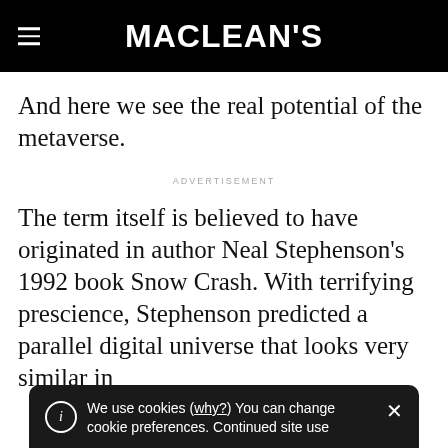MACLEAN'S
And here we see the real potential of the metaverse.
ADVERTISEMENT
The term itself is believed to have originated in author Neal Stephenson's 1992 book Snow Crash. With terrifying prescience, Stephenson predicted a parallel digital universe that looks very similar in
We use cookies (why?) You can change cookie preferences. Continued site use